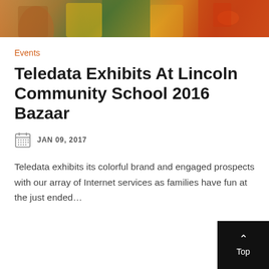[Figure (photo): Cropped photo of people at a community event, showing clothing and hands holding items, with orange, green and yellow colors visible.]
Events
Teledata Exhibits At Lincoln Community School 2016 Bazaar
JAN 09, 2017
Teledata exhibits its colorful brand and engaged prospects with our array of Internet services as families have fun at the just ended…